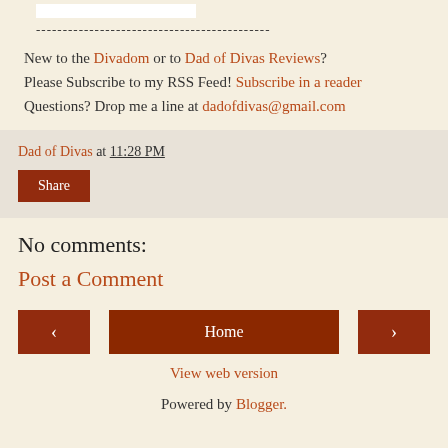[Figure (other): White rectangle placeholder image at top]
--------------------------------------------
New to the Divadom or to Dad of Divas Reviews? Please Subscribe to my RSS Feed! Subscribe in a reader Questions? Drop me a line at dadofdivas@gmail.com
Dad of Divas at 11:28 PM
Share
No comments:
Post a Comment
< Home >
View web version
Powered by Blogger.